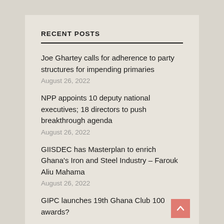RECENT POSTS
Joe Ghartey calls for adherence to party structures for impending primaries
August 26, 2022
NPP appoints 10 deputy national executives; 18 directors to push breakthrough agenda
August 26, 2022
GIISDEC has Masterplan to enrich Ghana's Iron and Steel Industry – Farouk Aliu Mahama
August 26, 2022
GIPC launches 19th Ghana Club 100 awards?